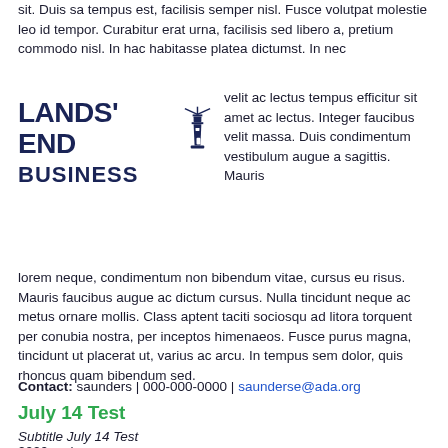sit. Duis sa tempus est, facilisis semper nisl. Fusce volutpat molestie leo id tempor. Curabitur erat urna, facilisis sed libero a, pretium commodo nisl. In hac habitasse platea dictumst. In nec
[Figure (logo): Lands' End Business logo with lighthouse icon]
velit ac lectus tempus efficitur sit amet ac lectus. Integer faucibus velit massa. Duis condimentum vestibulum augue a sagittis. Mauris
lorem neque, condimentum non bibendum vitae, cursus eu risus. Mauris faucibus augue ac dictum cursus. Nulla tincidunt neque ac metus ornare mollis. Class aptent taciti sociosqu ad litora torquent per conubia nostra, per inceptos himenaeos. Fusce purus magna, tincidunt ut placerat ut, varius ac arcu. In tempus sem dolor, quis rhoncus quam bibendum sed.
Contact: saunders | 000-000-0000 | saunderse@ada.org
July 14 Test
Subtitle July 14 Test
2020 code